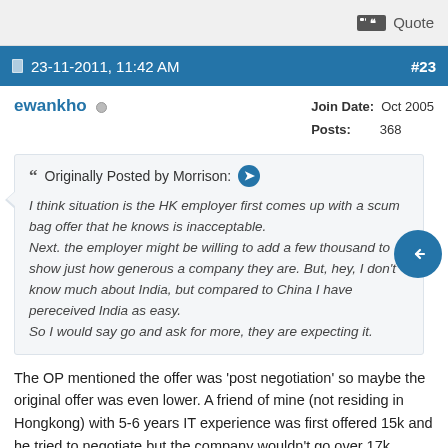Quote
23-11-2011, 11:42 AM  #23
ewankho  Join Date: Oct 2005  Posts: 368
Originally Posted by Morrison: I think situation is the HK employer first comes up with a scum bag offer that he knows is inacceptable. Next. the employer might be willing to add a few thousand to show just how generous a company they are. But, hey, I don't know much about India, but compared to China I have pereceived India as easy. So I would say go and ask for more, they are expecting it.
The OP mentioned the offer was 'post negotiation' so maybe the original offer was even lower. A friend of mine (not residing in Hongkong) with 5-6 years IT experience was first offered 15k and he tried to negotiate but the company wouldn't go over 17k.